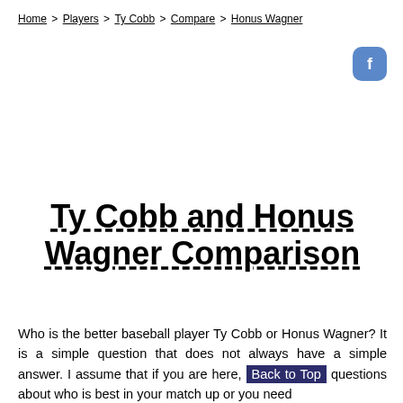Home > Players > Ty Cobb > Compare > Honus Wagner
Ty Cobb and Honus Wagner Comparison
Who is the better baseball player Ty Cobb or Honus Wagner? It is a simple question that does not always have a simple answer. I assume that if you are here, you have questions about who is best in your match up or you need